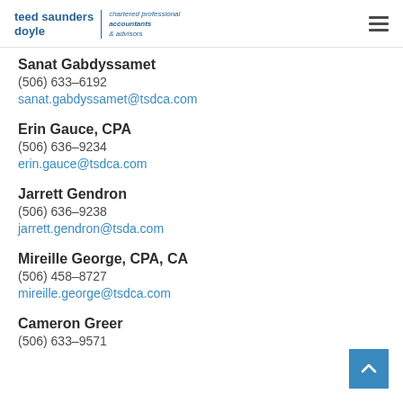teed saunders doyle | chartered professional accountants & advisors
Sanat Gabdyssamet
(506) 633-6192
sanat.gabdyssamet@tsdca.com
Erin Gauce, CPA
(506) 636-9234
erin.gauce@tsdca.com
Jarrett Gendron
(506) 636-9238
jarrett.gendron@tsda.com
Mireille George, CPA, CA
(506) 458-8727
mireille.george@tsdca.com
Cameron Greer
(506) 633-9571